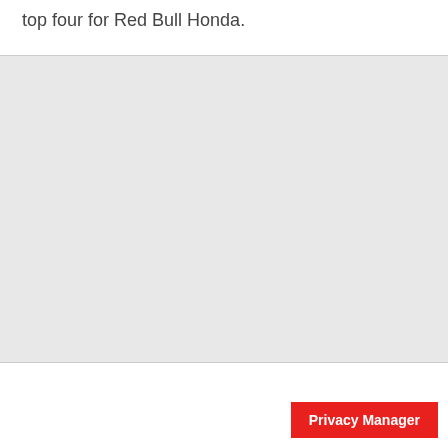top four for Red Bull Honda.
[Figure (photo): Large light grey placeholder image block]
Privacy Manager